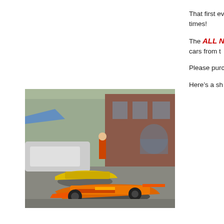That first ev... times!
The ALL N... cars from t...
Please purc...
Here’s a sh...
[Figure (photo): Outdoor scene with vintage/racing formula cars parked in front of a brick building. Includes orange and yellow open-wheel race cars and some regular vehicles. People are visible in the background near a blue tent.]